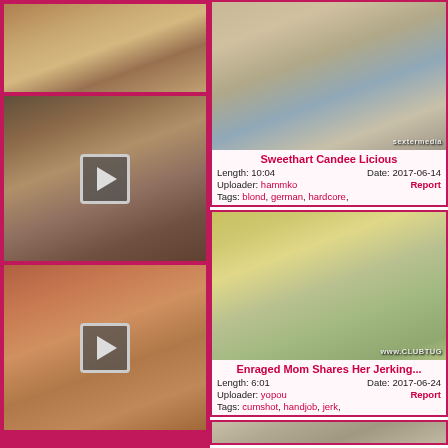[Figure (screenshot): Left column thumbnail 1: two people standing]
[Figure (screenshot): Left column thumbnail 2: adult content with play button overlay]
[Figure (screenshot): Left column thumbnail 3: adult content with play button overlay]
[Figure (screenshot): Right top video thumbnail: Sweethart Candee Licious, sextermedia watermark]
Sweethart Candee Licious
Length: 10:04   Date: 2017-06-14
Uploader: hammko   Report
Tags: blond, german, hardcore,
[Figure (screenshot): Right middle video thumbnail: Enraged Mom Shares Her Jerking..., www.clubtug watermark]
Enraged Mom Shares Her Jerking...
Length: 6:01   Date: 2017-06-24
Uploader: yopou   Report
Tags: cumshot, handjob, jerk,
[Figure (screenshot): Right bottom partial video thumbnail]